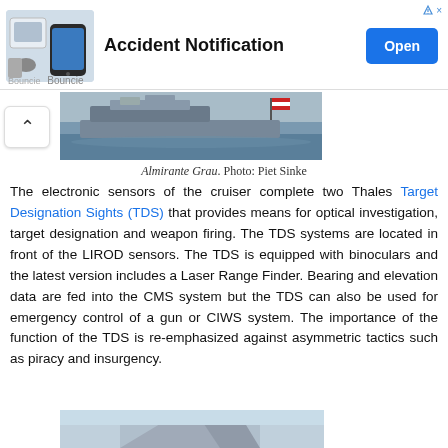[Figure (screenshot): Advertisement banner for 'Accident Notification' app by Bouncie, with an Open button and close/ad corner icons.]
[Figure (photo): Photo of the Peruvian cruiser Almirante Grau at sea, with a flag visible at stern.]
Almirante Grau. Photo: Piet Sinke
The electronic sensors of the cruiser complete two Thales Target Designation Sights (TDS) that provides means for optical investigation, target designation and weapon firing. The TDS systems are located in front of the LIROD sensors. The TDS is equipped with binoculars and the latest version includes a Laser Range Finder. Bearing and elevation data are fed into the CMS system but the TDS can also be used for emergency control of a gun or CIWS system. The importance of the function of the TDS is re-emphasized against asymmetric tactics such as piracy and insurgency.
[Figure (photo): Partial bottom photo showing a gray naval sensor or equipment housing against a blue sky.]